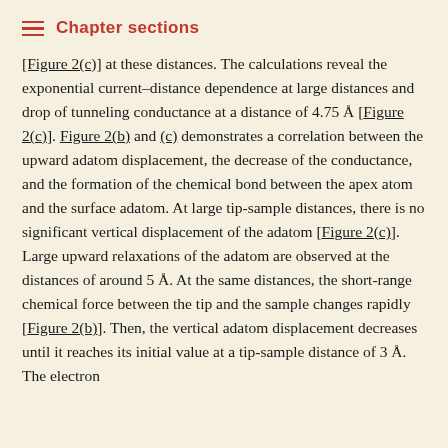Chapter sections
[Figure 2(c)] at these distances. The calculations reveal the exponential current–distance dependence at large distances and drop of tunneling conductance at a distance of 4.75 Å [Figure 2(c)]. Figure 2(b) and (c) demonstrates a correlation between the upward adatom displacement, the decrease of the conductance, and the formation of the chemical bond between the apex atom and the surface adatom. At large tip-sample distances, there is no significant vertical displacement of the adatom [Figure 2(c)]. Large upward relaxations of the adatom are observed at the distances of around 5 Å. At the same distances, the short-range chemical force between the tip and the sample changes rapidly [Figure 2(b)]. Then, the vertical adatom displacement decreases until it reaches its initial value at a tip-sample distance of 3 Å. The electron